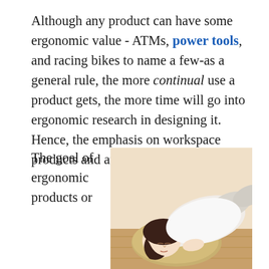Although any product can have some ergonomic value - ATMs, power tools, and racing bikes to name a few-as a general rule, the more continual use a product gets, the more time will go into ergonomic research in designing it. Hence, the emphasis on workspace products and automobiles.
[Figure (photo): A young woman with long brown hair lying on her side on a wooden floor, resting her head on a round cushion or pillow, eyes closed, wearing a white top and light-colored pants.]
The goal of ergonomic products or environments is to interface with humans in the most natural way possible. In buying products and creating environments